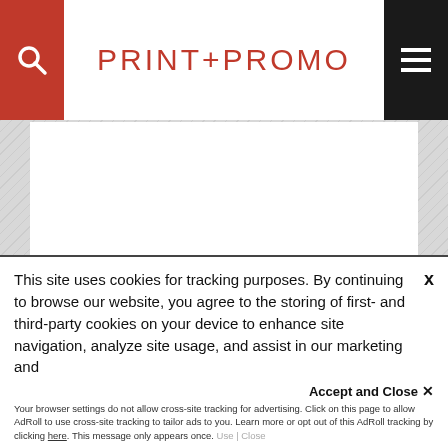PRINT+PROMO
[Figure (screenshot): White content area placeholder below header]
[Figure (screenshot): SUBSCRIBE button in red]
[Figure (screenshot): Print+Promo Marketing magazine thumbnail with ppm logo]
Print+Promo Marketing
This site uses cookies for tracking purposes. By continuing to browse our website, you agree to the storing of first- and third-party cookies on your device to enhance site navigation, analyze site usage, and assist in our marketing and
Accept and Close x
Your browser settings do not allow cross-site tracking for advertising. Click on this page to allow AdRoll to use cross-site tracking to tailor ads to you. Learn more or opt out of this AdRoll tracking by clicking here. This message only appears once.